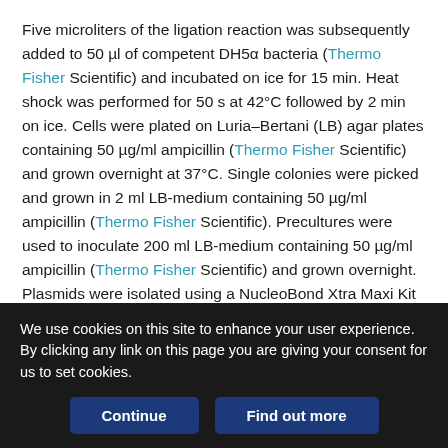Five microliters of the ligation reaction was subsequently added to 50 µl of competent DH5α bacteria (Thermo Fisher Scientific) and incubated on ice for 15 min. Heat shock was performed for 50 s at 42°C followed by 2 min on ice. Cells were plated on Luria–Bertani (LB) agar plates containing 50 µg/ml ampicillin (Thermo Fisher Scientific) and grown overnight at 37°C. Single colonies were picked and grown in 2 ml LB-medium containing 50 µg/ml ampicillin (Thermo Fisher Scientific). Precultures were used to inoculate 200 ml LB-medium containing 50 µg/ml ampicillin (Thermo Fisher Scientific) and grown overnight. Plasmids were isolated using a NucleoBond Xtra Maxi Kit (Macherey-Nagel) according to manufacturer's instructions.
We use cookies on this site to enhance your user experience. By clicking any link on this page you are giving your consent for us to set cookies.